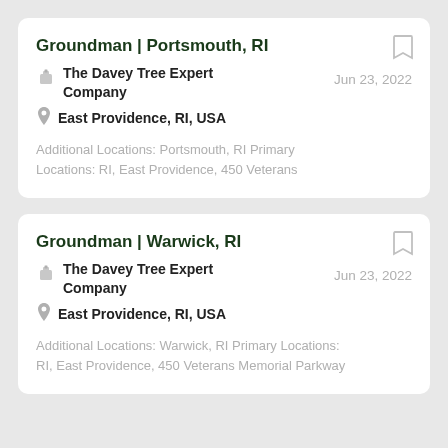Groundman | Portsmouth, RI
The Davey Tree Expert Company
East Providence, RI, USA
Jun 23, 2022
Additional Locations: Portsmouth, RI Primary Locations: RI, East Providence, 450 Veterans
Groundman | Warwick, RI
The Davey Tree Expert Company
East Providence, RI, USA
Jun 23, 2022
Additional Locations: Warwick, RI Primary Locations: RI, East Providence, 450 Veterans Memorial Parkway